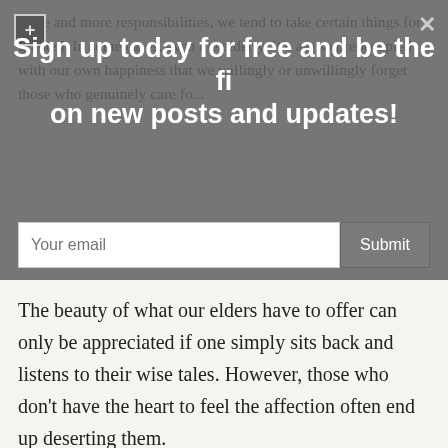more and more responsibilities, we tend to take certain things for granted. In some cases, even the elderly. We are so preoccupied with our own happiness that we willingly or unwillingly forget those who genuinely care fo...
Sign up today for free and be the fi on new posts and updates!
Your email [input field] Submit [button]
The beauty of what our elders have to offer can only be appreciated if one simply sits back and listens to their wise tales. However, those who don't have the heart to feel the affection often end up deserting them.
My mother said this to me once and I quote, "The elderly is just like kids by mentality." Be it repeatedly asking the same questions or the constant need for support and assistance, we usually perceive this as irritation. However, the truth is that they need and deserve our time and attention just like how they responded to our childish tantrums back in the day.